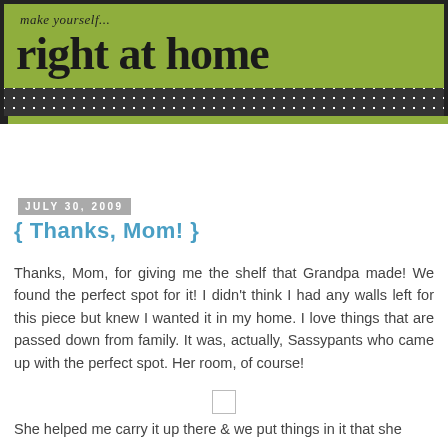[Figure (illustration): Blog header banner with olive/yellow-green background. Script text reads 'make yourself...' and large bold serif text reads 'right at home'. Dark polka-dot strip below, framed in dark/black border.]
July 30, 2009
{ Thanks, Mom! }
Thanks, Mom, for giving me the shelf that Grandpa made! We found the perfect spot for it! I didn't think I had any walls left for this piece but knew I wanted it in my home. I love things that are passed down from family. It was, actually, Sassypants who came up with the perfect spot. Her room, of course!
She helped me carry it up there & we put things in it that she